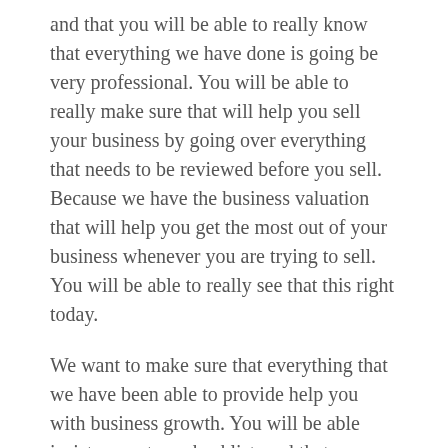and that you will be able to really know that everything we have done is going be very professional. You will be able to really make sure that will help you sell your business by going over everything that needs to be reviewed before you sell. Because we have the business valuation that will help you get the most out of your business whenever you are trying to sell. You will be able to really see that this right today.
We want to make sure that everything that we have been able to provide help you with business growth. You will be able insistence, steps checklist, and that you will be able to really see for yourself that we are to know that we can do it all. You are never going to be worried because Peak Business Valuation will be you leave make a huge difference today.
We want to make sure that you will be able to really make sure that this is going very great, and that you